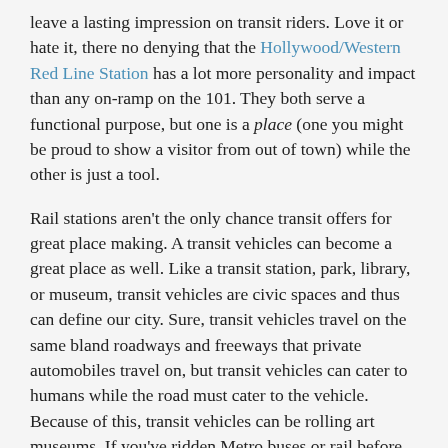leave a lasting impression on transit riders.  Love it or hate it, there no denying that the Hollywood/Western Red Line Station has a lot more personality and impact than any on-ramp on the 101. They both serve a functional purpose, but one is a place (one you might be proud to show a visitor from out of town) while the other is just a tool.
Rail stations aren't the only chance transit offers for great place making.  A transit vehicles can become a great place as well.  Like a transit station, park, library, or museum, transit vehicles are civic spaces and thus can define our city.  Sure, transit vehicles travel on the same bland roadways and freeways that private automobiles travel on, but transit vehicles can cater to humans while the road must cater to the vehicle.  Because of this, transit vehicles can be rolling art museums.  If you've ridden Metro buses or rail before, there's no doubt you've seen art. Metro Creative Services has commissioned 19 local artists so far to create posters of various Metro destinations that adorn the bus and rail vehicles systemwide.